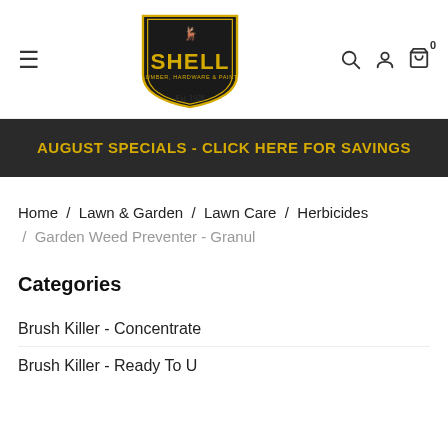[Figure (logo): Shell Lumber, Hardware & Paint logo - black shield shape with yellow text 'SHELL' and 'LUMBER, HARDWARE & PAINT', Est. 1928]
AUGUST SPECIALS - CLICK HERE FOR SAVINGS
Home / Lawn & Garden / Lawn Care / Herbicides / Garden Weed Preventer - Granul
Categories
Brush Killer - Concentrate
Brush Killer - Ready To Use